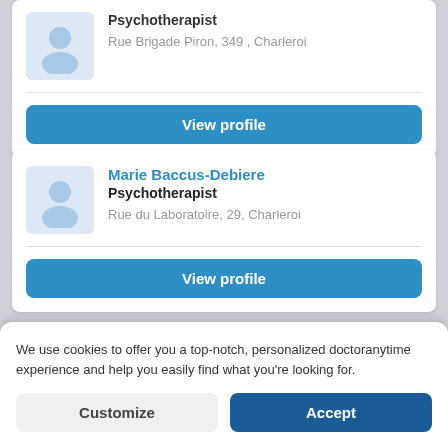Psychotherapist
Rue Brigade Piron, 349 , Charleroi
View profile
Marie Baccus-Debiere
Psychotherapist
Rue du Laboratoire, 29, Charleroi
View profile
We use cookies to offer you a top-notch, personalized doctoranytime experience and help you easily find what you're looking for.
Customize
Accept